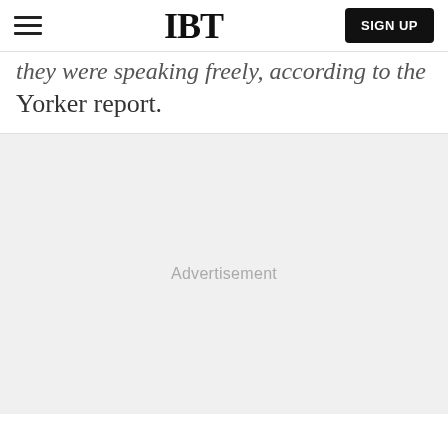IBT
they were speaking freely, according to the New Yorker report.
[Figure (other): Advertisement placeholder area with gray background]